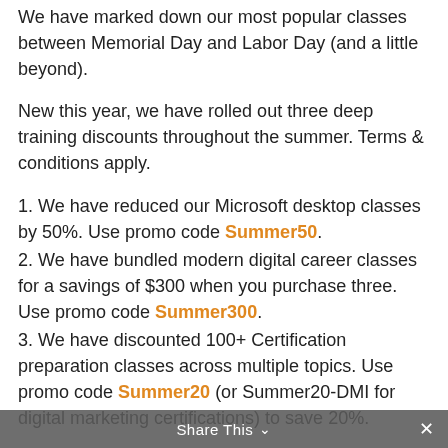We have marked down our most popular classes between Memorial Day and Labor Day (and a little beyond).
New this year, we have rolled out three deep training discounts throughout the summer. Terms & conditions apply.
1. We have reduced our Microsoft desktop classes by 50%. Use promo code Summer50.
2. We have bundled modern digital career classes for a savings of $300 when you purchase three. Use promo code Summer300.
3. We have discounted 100+ Certification preparation classes across multiple topics. Use promo code Summer20 (or Summer20-DMI for digital marketing certifications) to save 20%.
Share This ×